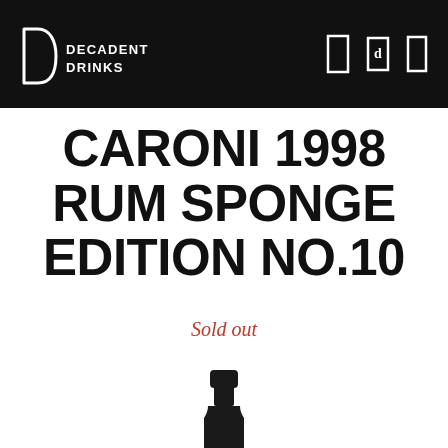DECADENT DRINKS
CARONI 1998 RUM SPONGE EDITION NO.10
Sold out
[Figure (photo): Top portion of a dark wine/rum bottle against white background]